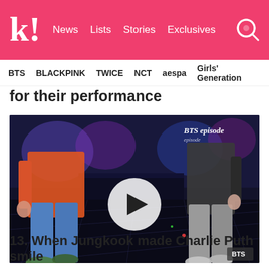k! News  Lists  Stories  Exclusives
BTS  BLACKPINK  TWICE  NCT  aespa  Girls' Generation
for their performance
[Figure (screenshot): BTS episode video thumbnail showing two people standing on a dark reflective stage floor. A white circular play button is centered on the image. Text 'BTS episode' appears in the top right corner. A BTS logo watermark is in the bottom right corner.]
13. When Jungkook made Charlie Puth smile